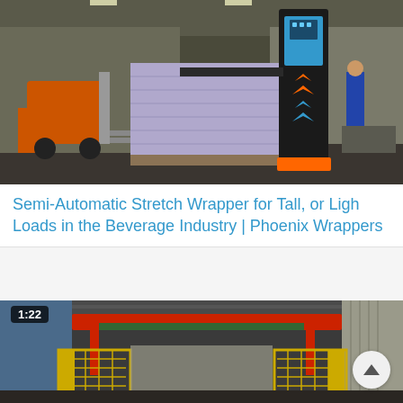[Figure (photo): Industrial warehouse scene showing a semi-automatic stretch wrapper machine (tall black unit with blue and orange chevron markings) next to a pallet of shrink-wrapped goods. An orange forklift is visible on the left, and a worker in blue is visible on the right background.]
Semi-Automatic Stretch Wrapper for Tall, or Ligh Loads in the Beverage Industry | Phoenix Wrappers
[Figure (photo): Industrial facility interior showing an automated stretch wrapper or conveyor/overhead crane system with yellow safety fencing on either side. A red overhead gantry structure is visible. Duration badge shows 1:22.]